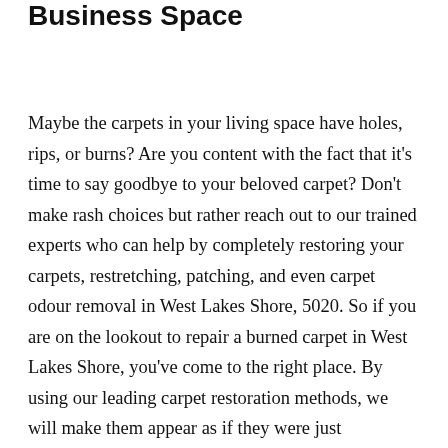Business Space
Maybe the carpets in your living space have holes, rips, or burns? Are you content with the fact that it's time to say goodbye to your beloved carpet? Don't make rash choices but rather reach out to our trained experts who can help by completely restoring your carpets, restretching, patching, and even carpet odour removal in West Lakes Shore, 5020. So if you are on the lookout to repair a burned carpet in West Lakes Shore, you've come to the right place. By using our leading carpet restoration methods, we will make them appear as if they were just purchased and